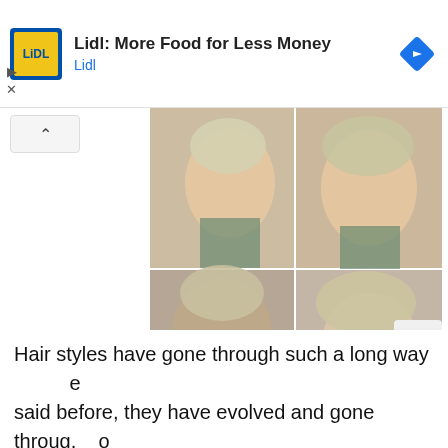[Figure (screenshot): Lidl advertisement banner with yellow square logo showing 'Lidl' text, ad title 'Lidl: More Food for Less Money', subtitle 'Lidl' in blue, and a blue diamond navigation icon on the right.]
[Figure (photo): Four-panel photo collage showing a woman with a short pixie undercut hairstyle from different angles: side profile, front three-quarter view, back view showing the undercut, and side view with textured style.]
Hair styles have gone through such a long way said before, they have evolved and gone through many changes that just “one” look can have so many